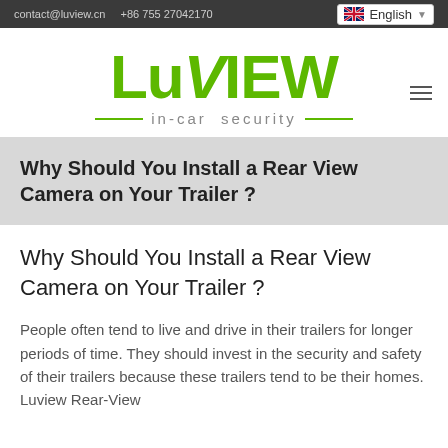contact@luview.cn   +86 755 27042170
[Figure (logo): LuView in-car security logo in green with tagline]
Why Should You Install a Rear View Camera on Your Trailer ?
Why Should You Install a Rear View Camera on Your Trailer ?
People often tend to live and drive in their trailers for longer periods of time. They should invest in the security and safety of their trailers because these trailers tend to be their homes. Luview Rear-View